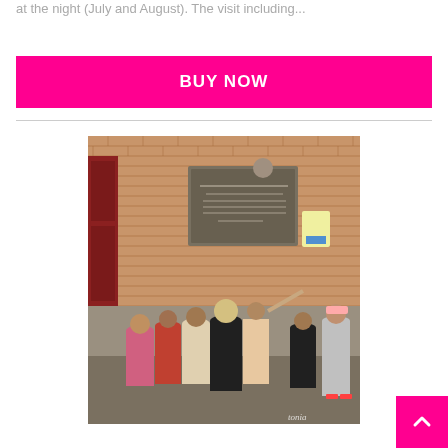at the night (July and August). The visit including…
BUY NOW
[Figure (photo): Group of tourists standing in front of a brick wall with a commemorative plaque and a bust sculpture mounted on it. A tour guide appears to be gesturing toward the plaque. The scene is in an outdoor or semi-covered corridor area.]
↑ (scroll to top button)